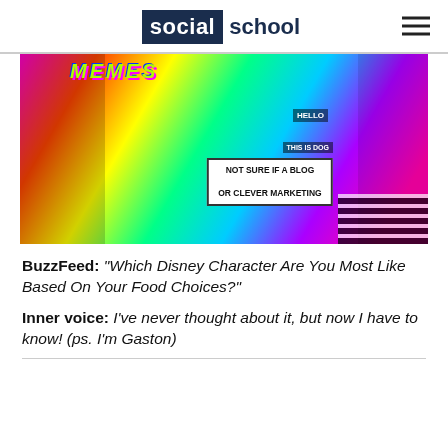social school
[Figure (photo): Collage of popular internet memes including Doge, Success Kid, Futurama Fry, Pepe the Frog, rage face, and others on a colorful psychedelic background with text 'MEMES' and 'NOT SURE IF A BLOG OR CLEVER MARKETING']
BuzzFeed: "Which Disney Character Are You Most Like Based On Your Food Choices?"
Inner voice: I've never thought about it, but now I have to know! (ps. I'm Gaston)